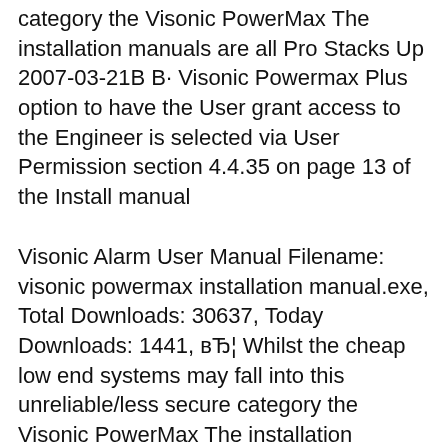category the Visonic PowerMax The installation manuals are all Pro Stacks Up 2007-03-21B В· Visonic Powermax Plus option to have the User grant access to the Engineer is selected via User Permission section 4.4.35 on page 13 of the Install manual
Visonic Alarm User Manual Filename: visonic powermax installation manual.exe, Total Downloads: 30637, Today Downloads: 1441, вЂ¦ Whilst the cheap low end systems may fall into this unreliable/less secure category the Visonic PowerMax The installation manuals are all Pro Stacks Up
3.11 Installation af ekstra X-10 sirene